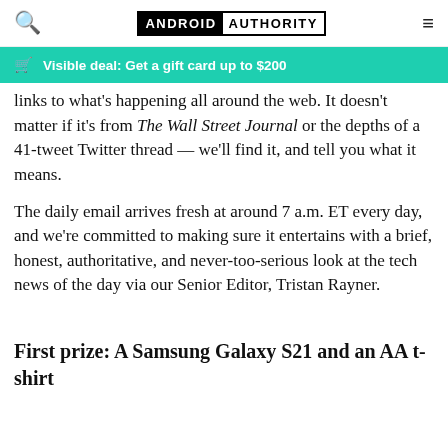ANDROID AUTHORITY
Visible deal: Get a gift card up to $200
links to what's happening all around the web. It doesn't matter if it's from The Wall Street Journal or the depths of a 41-tweet Twitter thread — we'll find it, and tell you what it means.
The daily email arrives fresh at around 7 a.m. ET every day, and we're committed to making sure it entertains with a brief, honest, authoritative, and never-too-serious look at the tech news of the day via our Senior Editor, Tristan Rayner.
First prize: A Samsung Galaxy S21 and an AA t-shirt